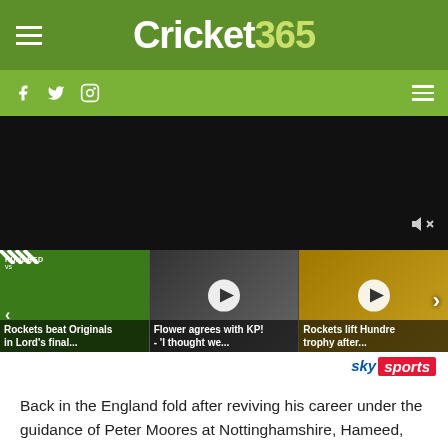Cricket 365
[Figure (screenshot): Cricket365 website header with green navigation bar showing hamburger menu, Cricket365 logo (white 'Cricket' and green '365'), social media icons (Facebook, Twitter, Instagram), and a video player area showing three video thumbnails: 'Rockets beat Originals in Lord's final...', 'Flower agrees with KP! - I thought we...', 'Rockets lift Hundred trophy after...' with Sky Sports branding]
Back in the England fold after reviving his career under the guidance of Peter Moores at Nottinghamshire, Hameed, still only 24, is in for an emotional return to Manchester for the fifth LV= Insurance Test against India.